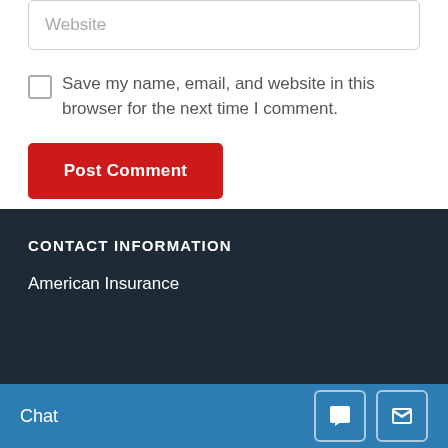Website
Save my name, email, and website in this browser for the next time I comment.
Post Comment
CONTACT INFORMATION
American Insurance
Chat